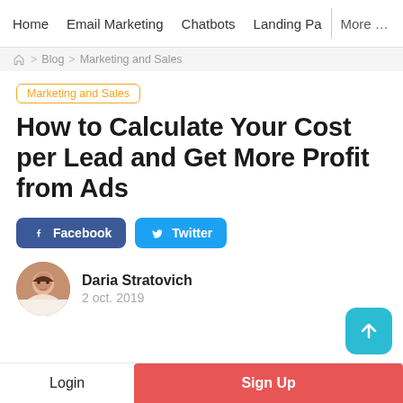Home  Email Marketing  Chatbots  Landing Pa  More ...
Home > Blog > Marketing and Sales
Marketing and Sales
How to Calculate Your Cost per Lead and Get More Profit from Ads
Facebook  Twitter
Daria Stratovich
2 oct. 2019
Login  Sign Up